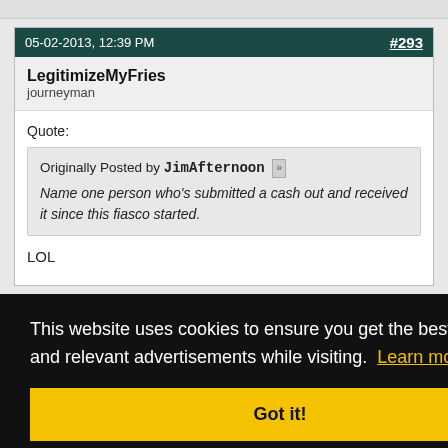05-02-2013, 12:39 PM  #293
LegitimizeMyFries
journeyman
Quote:
Originally Posted by JimAfternoon
Name one person who's submitted a cash out and received it since this fiasco started.
LOL
This website uses cookies to ensure you get the best experience and relevant advertisements while visiting.  Learn more
Got it!
were never denied to begin with.